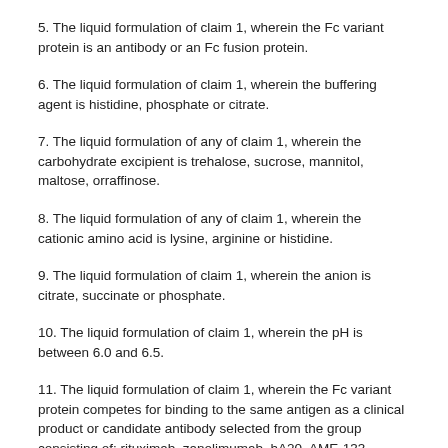5. The liquid formulation of claim 1, wherein the Fc variant protein is an antibody or an Fc fusion protein.
6. The liquid formulation of claim 1, wherein the buffering agent is histidine, phosphate or citrate.
7. The liquid formulation of any of claim 1, wherein the carbohydrate excipient is trehalose, sucrose, mannitol, maltose, orraffinose.
8. The liquid formulation of any of claim 1, wherein the cationic amino acid is lysine, arginine or histidine.
9. The liquid formulation of claim 1, wherein the anion is citrate, succinate or phosphate.
10. The liquid formulation of claim 1, wherein the pH is between 6.0 and 6.5.
11. The liquid formulation of claim 1, wherein the Fc variant protein competes for binding to the same antigen as a clinical product or candidate antibody selected from the group consisting of: rituximab, zanolimumab, hA20, AME-133, UltraYM, trastuzumab, pertuzumab, octuximab, IMG-